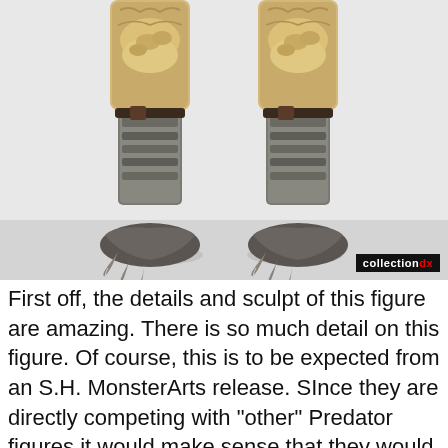[Figure (photo): Close-up photo of the lower legs and feet of a Predator action figure (S.H. MonsterArts), showing detailed sculpted feet with claws and textured leg armor, on a light grey/white background. CollectionDX watermark in bottom right corner.]
First off, the details and sculpt of this figure are amazing. There is so much detail on this figure. Of course, this is to be expected from an S.H. MonsterArts release. SInce they are directly competing with "other" Predator figures it would make sense that they would attempt to outdo